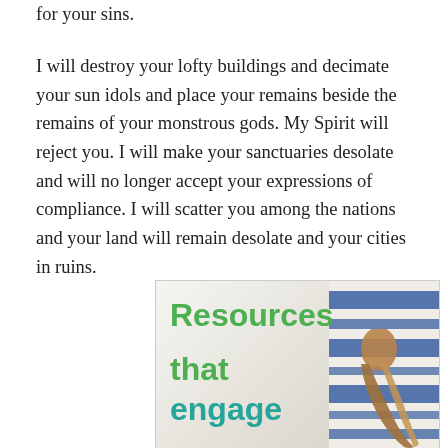for your sins.
I will destroy your lofty buildings and decimate your sun idols and place your remains beside the remains of your monstrous gods. My Spirit will reject you. I will make your sanctuaries desolate and will no longer accept your expressions of compliance. I will scatter you among the nations and your land will remain desolate and your cities in ruins.
[Figure (photo): Advertisement image with text 'Resources that engage' in green and teal, with a shofar and tallit (prayer shawl) in the background.]